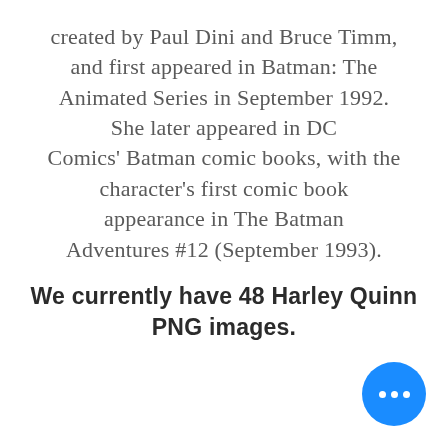created by Paul Dini and Bruce Timm, and first appeared in Batman: The Animated Series in September 1992. She later appeared in DC Comics' Batman comic books, with the character's first comic book appearance in The Batman Adventures #12 (September 1993).
We currently have 48 Harley Quinn PNG images.